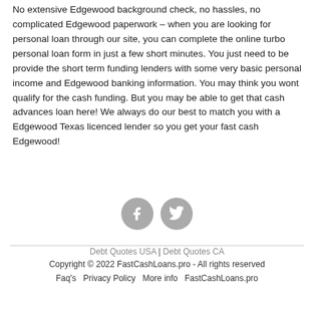No extensive Edgewood background check, no hassles, no complicated Edgewood paperwork – when you are looking for personal loan through our site, you can complete the online turbo personal loan form in just a few short minutes. You just need to be provide the short term funding lenders with some very basic personal income and Edgewood banking information. You may think you wont qualify for the cash funding. But you may be able to get that cash advances loan here! We always do our best to match you with a Edgewood Texas licenced lender so you get your fast cash Edgewood!
[Figure (other): Two circular social media icon buttons: Facebook (f) and Twitter (bird icon), both in grey]
Debt Quotes USA | Debt Quotes CA
Copyright © 2022 FastCashLoans.pro - All rights reserved
Faq's   Privacy Policy   More info   FastCashLoans.pro